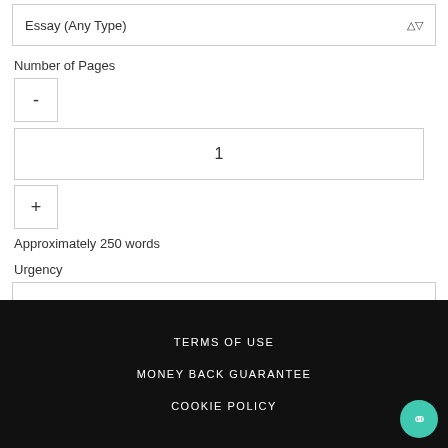Essay (Any Type)
Number of Pages
-
1
+
Approximately 250 words
Urgency
20 Days
$12
ORDER NOW
TERMS OF USE
MONEY BACK GUARANTEE
COOKIE POLICY